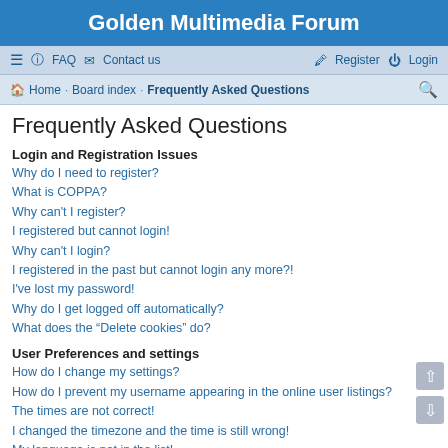Golden Multimedia Forum
≡ FAQ  Contact us    Register  Login
Home · Board index · Frequently Asked Questions
Frequently Asked Questions
Login and Registration Issues
Why do I need to register?
What is COPPA?
Why can't I register?
I registered but cannot login!
Why can't I login?
I registered in the past but cannot login any more?!
I've lost my password!
Why do I get logged off automatically?
What does the "Delete cookies" do?
User Preferences and settings
How do I change my settings?
How do I prevent my username appearing in the online user listings?
The times are not correct!
I changed the timezone and the time is still wrong!
My language is not in the list!
What are the images next to my username?